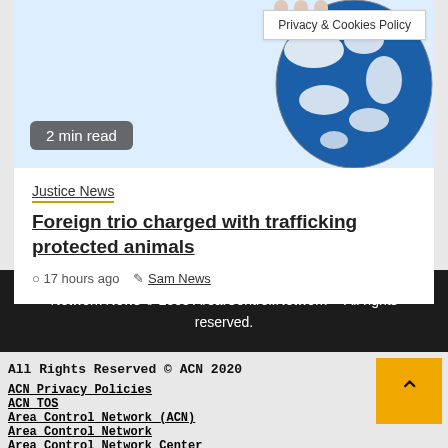[Figure (photo): Blue and white globe being held, partial view at top of card]
2 min read
Privacy & Cookies Policy
Justice News
Foreign trio charged with trafficking protected animals
17 hours ago   Sam News
Network News © 2005 Area.Control.Network™ All rights reserved.
All Rights Reserved © ACN 2020
ACN Privacy Policies
ACN TOS
Area Control Network (ACN)
Area Control Network
Area Control Network Center